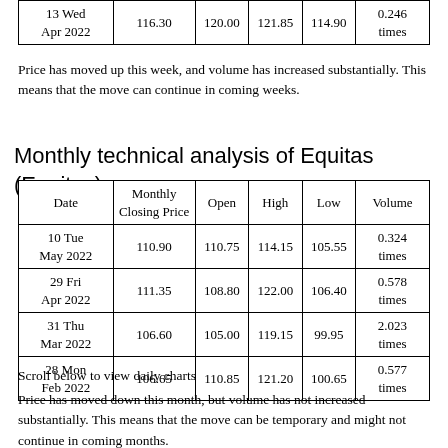| Date | Monthly Closing Price | Open | High | Low | Volume |
| --- | --- | --- | --- | --- | --- |
| 13 Wed
Apr 2022 | 116.30 | 120.00 | 121.85 | 114.90 | 0.246 times |
Price has moved up this week, and volume has increased substantially. This means that the move can continue in coming weeks.
Monthly technical analysis of Equitas (Equitas)
| Date | Monthly Closing Price | Open | High | Low | Volume |
| --- | --- | --- | --- | --- | --- |
| 10 Tue
May 2022 | 110.90 | 110.75 | 114.15 | 105.55 | 0.324 times |
| 29 Fri
Apr 2022 | 111.35 | 108.80 | 122.00 | 106.40 | 0.578 times |
| 31 Thu
Mar 2022 | 106.60 | 105.00 | 119.15 | 99.95 | 2.023 times |
| 28 Mon
Feb 2022 | 106.65 | 110.85 | 121.20 | 100.65 | 0.577 times |
Scroll below to view daily charts
Price has moved down this month, but volume has not increased substantially. This means that the move can be temporary and might not continue in coming months.